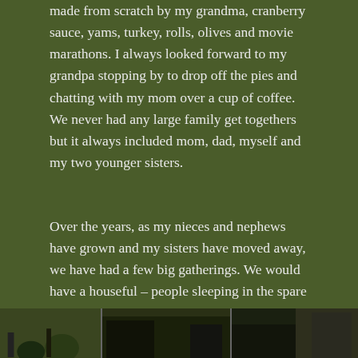made from scratch by my grandma, cranberry sauce, yams, turkey, rolls, olives and movie marathons.  I always looked forward to my grandpa stopping by to drop off the pies and chatting with my mom over a cup of coffee.  We never had any large family get togethers but it always included mom, dad, myself and my two younger sisters.
Over the years, as my nieces and nephews have grown and my sisters have moved away, we have had a few big gatherings.  We would have a houseful – people sleeping in the spare bedroom, on the couch, air mattress and the floor.  These were Christian's favorite Thanksgivings.
[Figure (photo): Bottom strip showing partial view of a photograph, partially cut off at the bottom of the page]